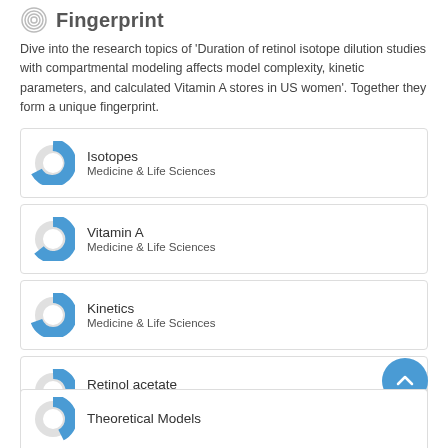Fingerprint
Dive into the research topics of 'Duration of retinol isotope dilution studies with compartmental modeling affects model complexity, kinetic parameters, and calculated Vitamin A stores in US women'. Together they form a unique fingerprint.
[Figure (donut-chart): Donut chart icon for Isotopes, mostly blue fill]
Isotopes
Medicine & Life Sciences
[Figure (donut-chart): Donut chart icon for Vitamin A, mostly blue fill]
Vitamin A
Medicine & Life Sciences
[Figure (donut-chart): Donut chart icon for Kinetics, partially blue fill]
Kinetics
Medicine & Life Sciences
[Figure (donut-chart): Donut chart icon for Retinol acetate, small blue fill]
Retinol acetate
Medicine & Life Sciences
[Figure (donut-chart): Donut chart icon for Theoretical Models, partially visible at bottom]